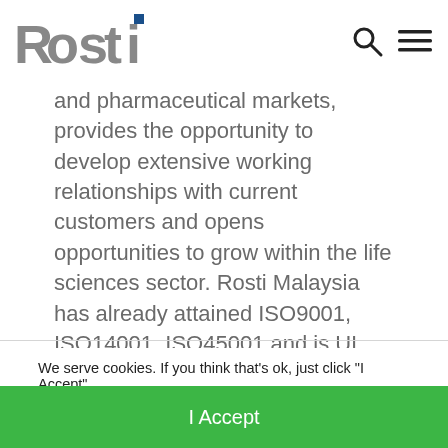Rosti [logo] [search icon] [menu icon]
and pharmaceutical markets, provides the opportunity to develop extensive working relationships with current customers and opens opportunities to grow within the life sciences sector. Rosti Malaysia has already attained ISO9001, ISO14001, ISO45001 and is UL Certified.
We serve cookies. If you think that’s ok, just click “I Accept”. Read our cookie policy
I Accept